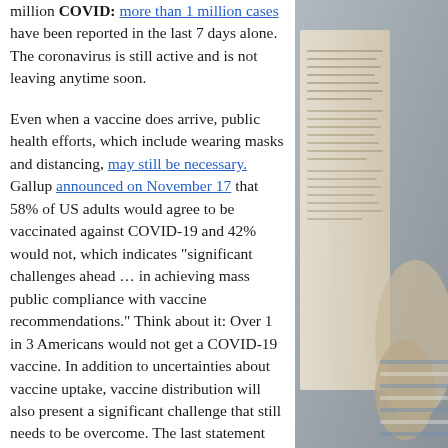million COVID: more than 1 million cases have been reported in the last 7 days alone. The coronavirus is still active and is not leaving anytime soon.
Even when a vaccine does arrive, public health efforts, which include wearing masks and distancing, may still be necessary. Gallup announced on November 17 that 58% of US adults would agree to be vaccinated against COVID-19 and 42% would not, which indicates “significant challenges ahead … in achieving mass public compliance with vaccine recommendations.” Think about it: Over 1 in 3 Americans would not get a COVID-19 vaccine. In addition to uncertainties about vaccine uptake, vaccine distribution will also present a significant challenge that still needs to be overcome. The last statement should...
[Figure (photo): Photo of a person reading a newspaper or document, partially visible on the right side of the page.]